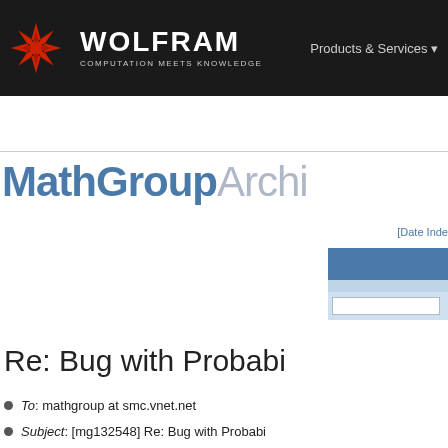WOLFRAM COMPUTATION MEETS KNOWLEDGE — Products & Services
[Figure (logo): Wolfram logo with red snowflake icon and WOLFRAM COMPUTATION MEETS KNOWLEDGE text on dark background]
MathGroup Archive
[Date Index]
To: mathgroup at smc.vnet.net
Subject: [mg132548] Re: Bug with Probabi...
From: Barrie Stokes <harrie.stokes at news...